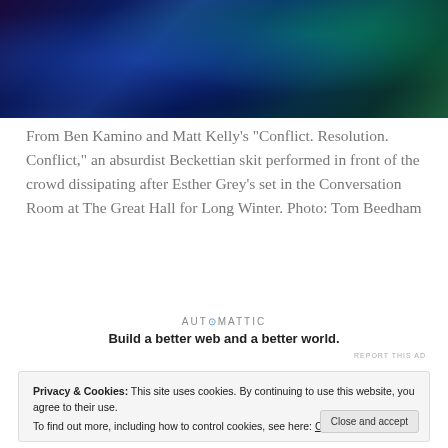[Figure (photo): A performer or figure lit with blue and green stage lighting, dark background, partial view of upper body]
From Ben Kamino and Matt Kelly's "Conflict. Resolution. Conflict," an absurdist Beckettian skit performed in front of the crowd dissipating after Esther Grey's set in the Conversation Room at The Great Hall for Long Winter. Photo: Tom Beedham
[Figure (logo): Automattic logo with tagline: Build a better web and a better world.]
REPORT THIS AD
Privacy & Cookies: This site uses cookies. By continuing to use this website, you agree to their use.
To find out more, including how to control cookies, see here: Cookie Policy
Close and accept